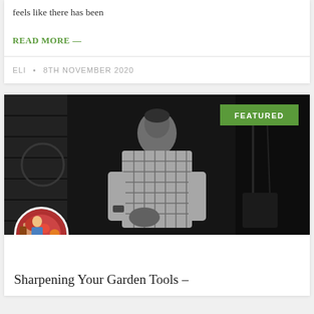feels like there has been
READ MORE —
ELI • 8TH NOVEMBER 2020
[Figure (photo): Black and white photo of a person in a plaid shirt working with tools, with a green FEATURED badge in the top right corner and a circular avatar photo overlapping the bottom left]
Sharpening Your Garden Tools –